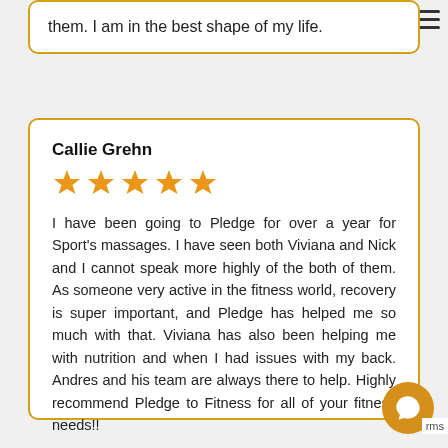them. I am in the best shape of my life.
Callie Grehn
[Figure (other): Five gold/orange star rating icons]
I have been going to Pledge for over a year for Sport's massages. I have seen both Viviana and Nick and I cannot speak more highly of the both of them. As someone very active in the fitness world, recovery is super important, and Pledge has helped me so much with that. Viviana has also been helping me with nutrition and when I had issues with my back. Andres and his team are always there to help. Highly recommend Pledge to Fitness for all of your fitness needs!!